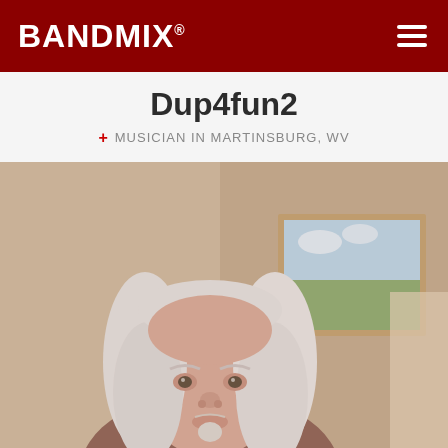BANDMIX®
Dup4fun2
+ MUSICIAN IN MARTINSBURG, WV
[Figure (photo): Profile photo of a middle-aged man with long white/silver hair and a goatee, seated in front of a framed painting on a beige wall. The image has a warm, slightly blurred tone.]